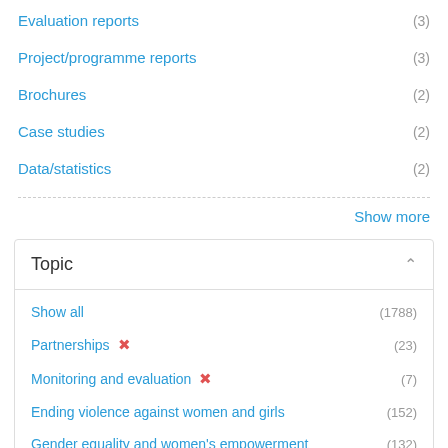Evaluation reports (3)
Project/programme reports (3)
Brochures (2)
Case studies (2)
Data/statistics (2)
Show more
Topic
Show all (1788)
Partnerships ✕ (23)
Monitoring and evaluation ✕ (7)
Ending violence against women and girls (152)
Gender equality and women's empowerment (132)
Economic empowerment (76)
Leadership and political participation (49)
Peace and security (48)
COVID-19 (45)